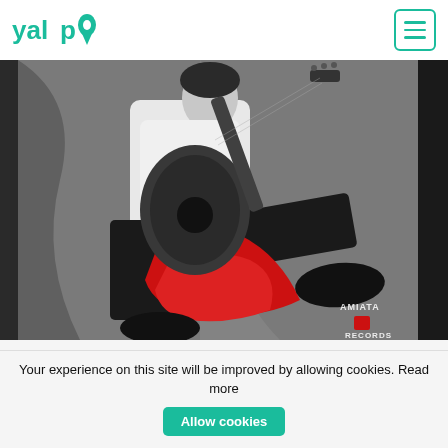yalp
[Figure (photo): Black and white album cover photo of a guitarist in a white shirt and black pants playing a classical guitar, with a red cloth draped across the lap. A woman in a red dress is partially visible. 'AMIATA RECORDS' watermark in the bottom right corner.]
Mediterraneo
C, F, G, A#
Your experience on this site will be improved by allowing cookies. Read more
Allow cookies